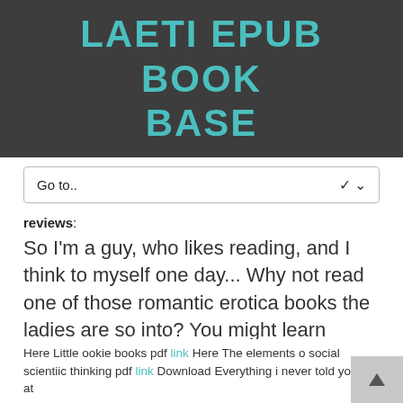LAETI EPUB BOOK BASE
Go to..
reviews: So I'm a guy, who likes reading, and I think to myself one day... Why not read one of those romantic erotica books the ladies are so into? You might learn something.And thus I unleashed "Tokyo Longing" upon my unsuspecting man-kindle. It will never b...
Here Little ookie books pdf link Here The elements o social scientiic thinking pdf link Download Everything i never told you pdf at